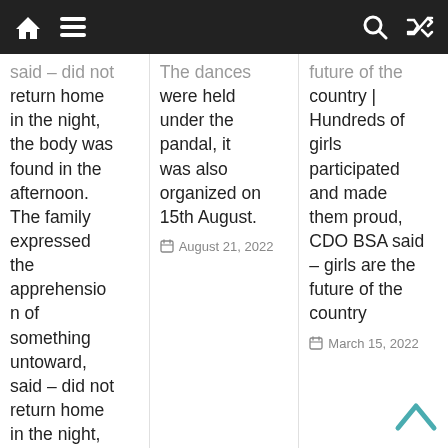Navigation bar with home, menu, search, and shuffle icons
said – did not return home in the night, the body was found in the afternoon. The family expressed the apprehension of something untoward, said – did not return home in the night, the body was found in the afternoon
The dances were held under the pandal, it was also organized on 15th August.
August 21, 2022
future of the country | Hundreds of girls participated and made them proud, CDO BSA said – girls are the future of the country
March 15, 2022